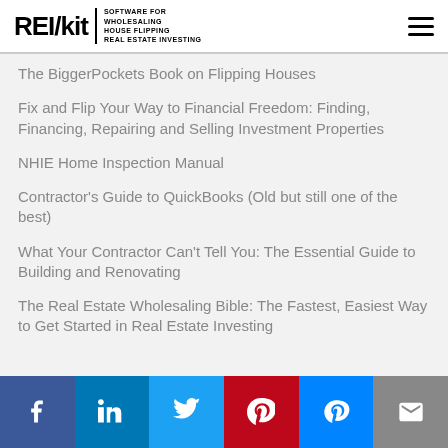REI/kit | SOFTWARE FOR WHOLESALING HOUSE FLIPPING REAL ESTATE INVESTING
The BiggerPockets Book on Flipping Houses
Fix and Flip Your Way to Financial Freedom: Finding, Financing, Repairing and Selling Investment Properties
NHIE Home Inspection Manual
Contractor's Guide to QuickBooks (Old but still one of the best)
What Your Contractor Can't Tell You: The Essential Guide to Building and Renovating
The Real Estate Wholesaling Bible: The Fastest, Easiest Way to Get Started in Real Estate Investing